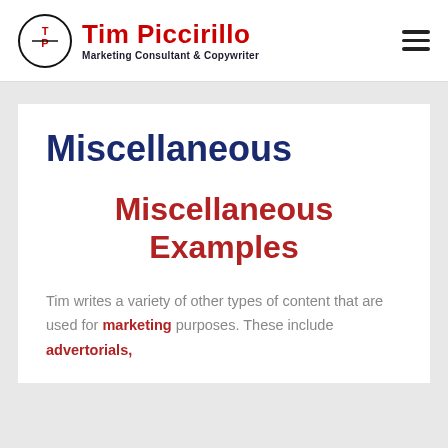Tim Piccirillo — Marketing Consultant & Copywriter
Miscellaneous
Miscellaneous Examples
Tim writes a variety of other types of content that are used for marketing purposes. These include advertorials,